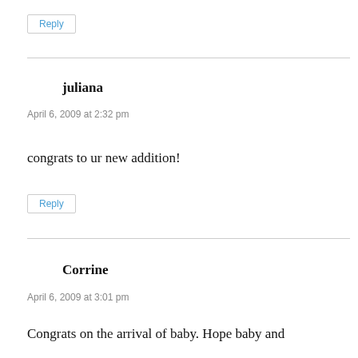Reply
juliana
April 6, 2009 at 2:32 pm
congrats to ur new addition!
Reply
Corrine
April 6, 2009 at 3:01 pm
Congrats on the arrival of baby. Hope baby and